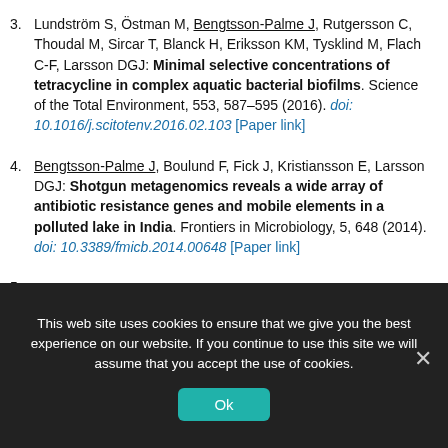3. Lundström S, Östman M, Bengtsson-Palme J, Rutgersson C, Thoudal M, Sircar T, Blanck H, Eriksson KM, Tysklind M, Flach C-F, Larsson DGJ: Minimal selective concentrations of tetracycline in complex aquatic bacterial biofilms. Science of the Total Environment, 553, 587–595 (2016). doi: 10.1016/j.scitotenv.2016.02.103 [Paper link]
4. Bengtsson-Palme J, Boulund F, Fick J, Kristiansson E, Larsson DGJ: Shotgun metagenomics reveals a wide array of antibiotic resistance genes and mobile elements in a polluted lake in India. Frontiers in Microbiology, 5, 648 (2014). doi: 10.3389/fmicb.2014.00648 [Paper link]
This web site uses cookies to ensure that we give you the best experience on our website. If you continue to use this site we will assume that you accept the use of cookies.